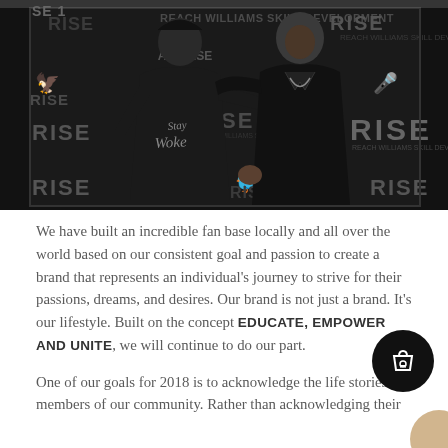[Figure (photo): Two men posing together smiling in front of a RISE branded step-and-repeat backdrop. The man on the left wears a black hoodie with 'Stay Woke' script and 'VATE RISE' logo. The man on the right wears a black jacket. Multiple RISE logos visible on the backdrop.]
We have built an incredible fan base locally and all over the world based on our consistent goal and passion to create a brand that represents an individual's journey to strive for their passions, dreams, and desires. Our brand is not just a brand. It's our lifestyle. Built on the concept EDUCATE, EMPOWER AND UNITE, we will continue to do our part.
One of our goals for 2018 is to acknowledge the life stories of members of our community. Rather than acknowledging their accomplishments and life stories...